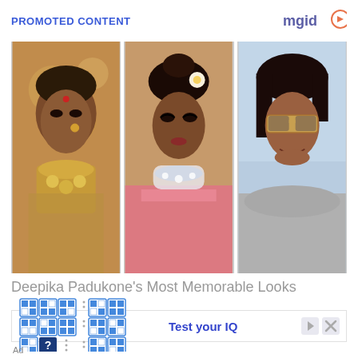PROMOTED CONTENT
[Figure (photo): Three photos of Deepika Padukone in different looks: bridal with gold jewelry, in pink saree with flower hair accessory, and casual with sunglasses]
Deepika Padukone’s Most Memorable Looks
[Figure (infographic): IQ test puzzle advertisement showing a 3x3 grid pattern with blue squares and a question mark, beside the text 'Test your IQ']
Ad